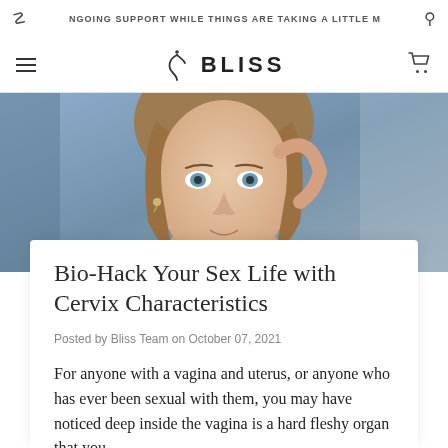ONGOING SUPPORT WHILE THINGS ARE TAKING A LITTLE M
[Figure (logo): Bliss brand logo with stylized script symbol and BLISS wordmark]
[Figure (photo): Close-up portrait of a young woman with blue eyes and light brown hair touching her temple, against a muted blue-grey background]
Bio-Hack Your Sex Life with Cervix Characteristics
Posted by Bliss Team on October 07, 2021
For anyone with a vagina and uterus, or anyone who has ever been sexual with them, you may have noticed deep inside the vagina is a hard fleshy organ that you